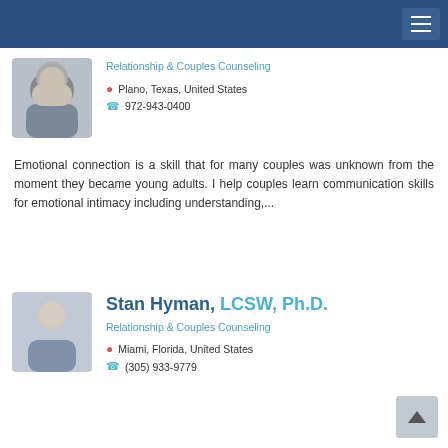Relationship & Couples Counseling
Plano, Texas, United States
972-943-0400
Emotional connection is a skill that for many couples was unknown from the moment they became young adults. I help couples learn communication skills for emotional intimacy including understanding,...
Stan Hyman, LCSW, Ph.D.
Relationship & Couples Counseling
Miami, Florida, United States
(305) 933-9779